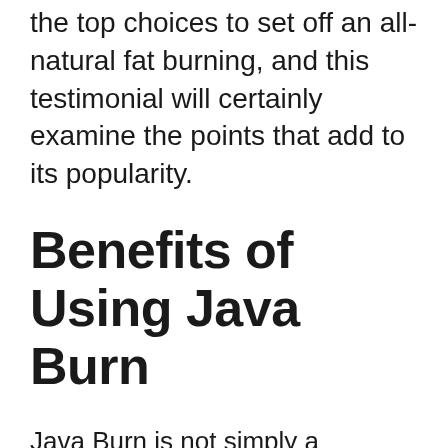the top choices to set off an all-natural fat burning, and this testimonial will certainly examine the points that add to its popularity.
Benefits of Using Java Burn
Java Burn is not simply a common dietary supplement that makes unbacked weight-reduction claims. It is backed with science and also tones of positive testimonials, as seen on their site.
Java Burn fat burning is accompanied by much better nutritional synergy, boosted metabolic feature, and a portion of various other health and wellness advantages.